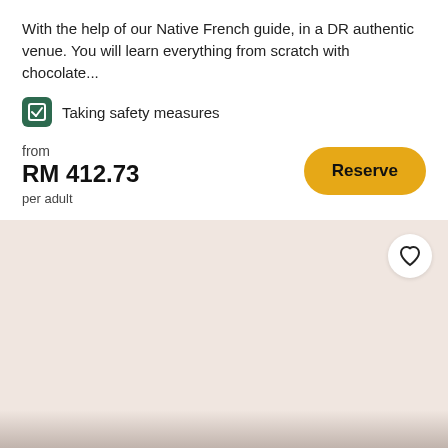With the help of our Native French guide, in a DR authentic venue. You will learn everything from scratch with chocolate...
Taking safety measures
from
RM 412.73
per adult
[Figure (illustration): Pinkish-beige placeholder card image with a heart/favorite button in the top right corner and five pagination dots at the bottom]
Hiking, Wineries, Walkway Over the Hudson, luxury hotel- 2-Day Hudson Valley NY